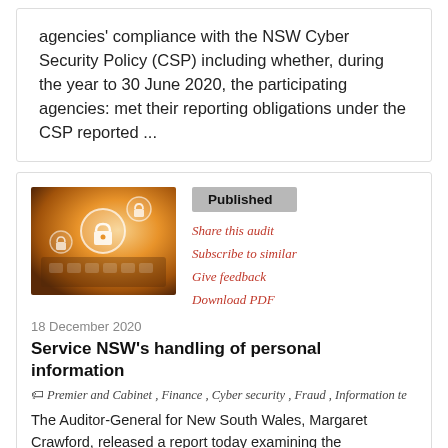agencies' compliance with the NSW Cyber Security Policy (CSP) including whether, during the year to 30 June 2020, the participating agencies: met their reporting obligations under the CSP reported ...
[Figure (photo): Photo of hands on a keyboard with digital security lock icons overlaid, warm golden/orange tones]
Published
Share this audit
Subscribe to similar
Give feedback
Download PDF
18 December 2020
Service NSW's handling of personal information
Premier and Cabinet , Finance , Cyber security , Fraud , Information te
The Auditor-General for New South Wales, Margaret Crawford, released a report today examining the effectiveness of Service NSW's handling of customers' personal information to ensure its privacy. The audit